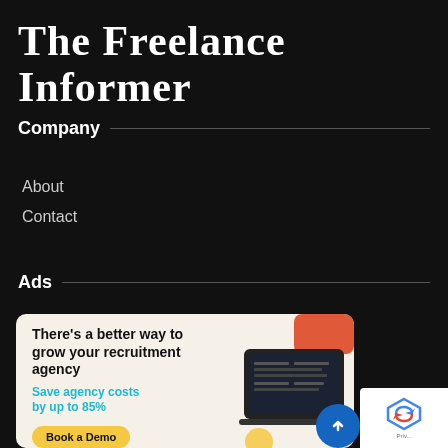The Freelance Informer
Company
About
Contact
Ads
[Figure (screenshot): Advertisement card with cream/beige background showing: headline 'There's a better way to grow your recruitment agency', subtext 'Save agency costs by up to 85%' in cyan, a yellow 'Book a Demo' button, and a laptop/dashboard image on the right with a red/orange accent shape.]
[Figure (logo): Google reCAPTCHA badge with rotating arrows logo and 'Priv...' text, plus a blue circular upload/arrow button]